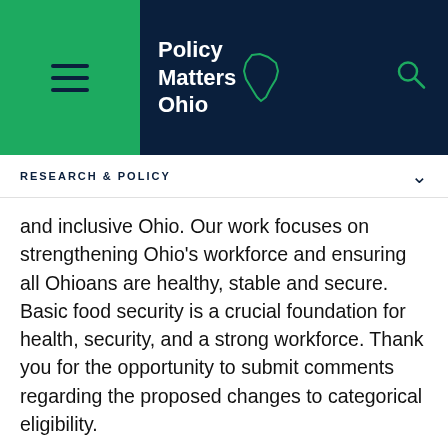[Figure (logo): Policy Matters Ohio website header with hamburger menu on green background, Policy Matters Ohio logo with Ohio state outline, and search icon on dark navy background]
RESEARCH & POLICY
and inclusive Ohio. Our work focuses on strengthening Ohio's workforce and ensuring all Ohioans are healthy, stable and secure. Basic food security is a crucial foundation for health, security, and a strong workforce. Thank you for the opportunity to submit comments regarding the proposed changes to categorical eligibility.
Broad-based categorical eligibility makes it easier for people to access basic food assistance. It allows households that are eligible for other public programs, including Social Security Income and Temporary Assistance for